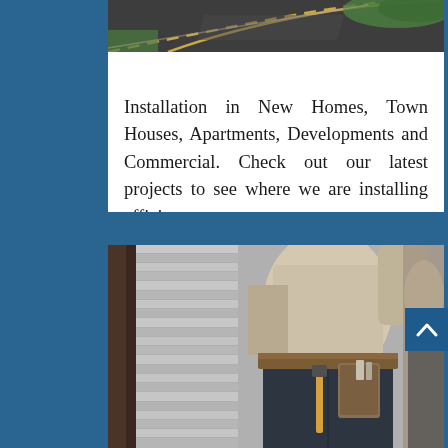[Figure (photo): Aerial view of road/driveway with asphalt and green vegetation - partial top image]
Installation in New Homes, Town Houses, Apartments, Developments and Commercial. Check out our latest projects to see where we are installing efficient systems.
[Figure (photo): Construction worker wearing tool belt with hammer, working on metal siding/cladding installation]